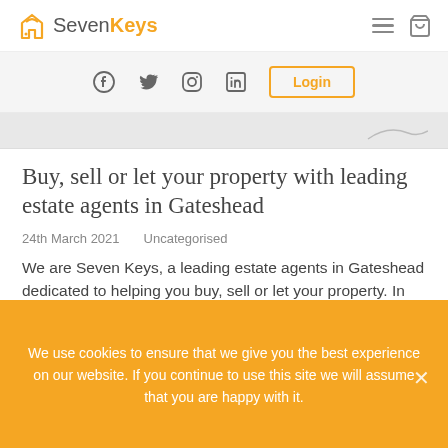SevenKeys - navigation bar with logo, hamburger menu, and cart icon
[Figure (screenshot): Social media icons (Facebook, Twitter, Instagram, LinkedIn) and Login button]
[Figure (photo): Partial hero/banner image, light grey background with faint graphic elements]
Buy, sell or let your property with leading estate agents in Gateshead
24th March 2021    Uncategorised
We are Seven Keys, a leading estate agents in Gateshead dedicated to helping you buy, sell or let your property. In today’s blog post, we’ll be telling
We use cookies to ensure that we give you the best experience on our website. If you continue to use this site we will assume that you are happy with it.